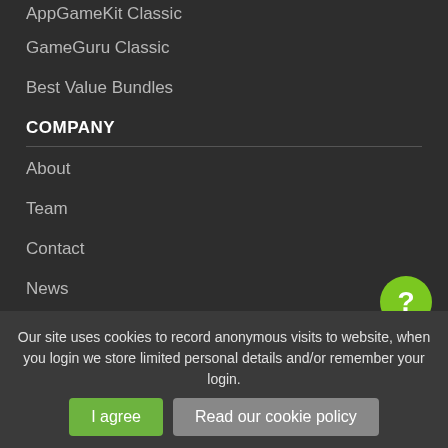AppGameKit Classic
GameGuru Classic
Best Value Bundles
COMPANY
About
Team
Contact
News
COMMUNITY
Our site uses cookies to record anonymous visits to website, when you login we store limited personal details and/or remember your login.